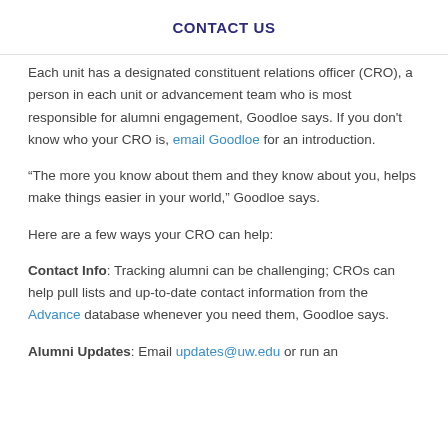CONTACT US
Each unit has a designated constituent relations officer (CRO), a person in each unit or advancement team who is most responsible for alumni engagement, Goodloe says. If you don't know who your CRO is, email Goodloe for an introduction.
“The more you know about them and they know about you, helps make things easier in your world,” Goodloe says.
Here are a few ways your CRO can help:
Contact Info: Tracking alumni can be challenging; CROs can help pull lists and up-to-date contact information from the Advance database whenever you need them, Goodloe says.
Alumni Updates: Email updates@uw.edu or run an